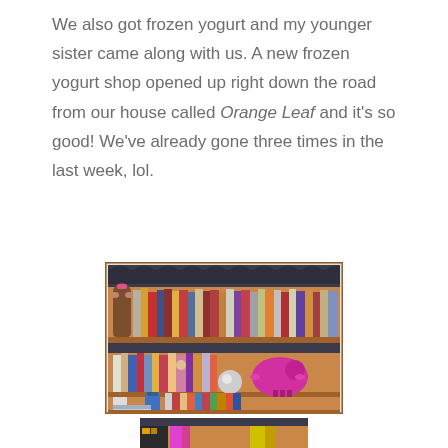We also got frozen yogurt and my younger sister came along with us. A new frozen yogurt shop opened up right down the road from our house called Orange Leaf and it's so good! We've already gone three times in the last week, lol.
[Figure (photo): Photograph of a wooden bookshelf with three visible shelves filled with books and decorative items including a stuffed animal and a piggy bank]
[Figure (photo): Partial photo of another bookshelf or surface visible at the bottom of the page]